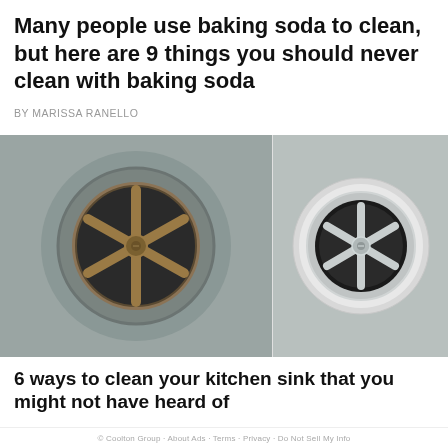Many people use baking soda to clean, but here are 9 things you should never clean with baking soda
BY MARISSA RANELLO
[Figure (photo): Side-by-side photos of a kitchen sink drain. Left photo shows a dirty/tarnished drain with brownish discoloration around the stopper spokes. Right photo shows a clean shiny drain with bright chrome finish.]
6 ways to clean your kitchen sink that you might not have heard of
© Coolton Group · About Ads · Terms · Privacy · Do Not Sell My Info